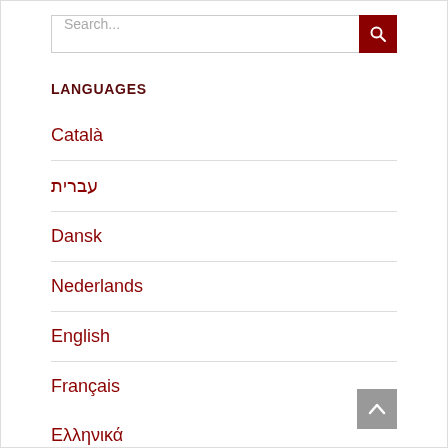Search...
LANGUAGES
Català
עברית
Dansk
Nederlands
English
Français
Ελληνικά